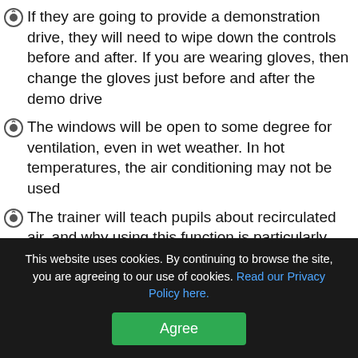If they are going to provide a demonstration drive, they will need to wipe down the controls before and after. If you are wearing gloves, then change the gloves just before and after the demo drive
The windows will be open to some degree for ventilation, even in wet weather. In hot temperatures, the air conditioning may not be used
The trainer will teach pupils about recirculated air, and why using this function is particularly risky at present, if the car has this facility
Discussions during the lesson may be held outside of the car, and it is advised that regular breaks outside of the vehicle should be taken anyway, and the vehicle aired
Lessons may be of a longer duration to minimise the…
This website uses cookies. By continuing to browse the site, you are agreeing to our use of cookies. Read our Privacy Policy here.